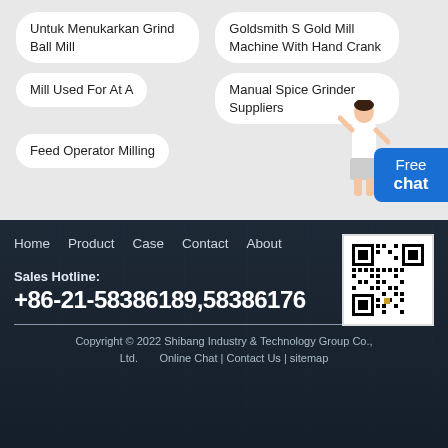Untuk Menukarkan Grind Ball Mill
Goldsmith S Gold Mill Machine With Hand Crank
Mill Used For At A
Manual Spice Grinder Suppliers
Feed Operator Milling
Free chat
Home   Product   Case   Contact   About
[Figure (other): QR code for Shibang Industry & Technology Group website]
Sales Hotline:
+86-21-58386189,58386176
Copyright © 2022 Shibang Industry & Technology Group Co., Ltd.   Online Chat | Contact Us | sitemap